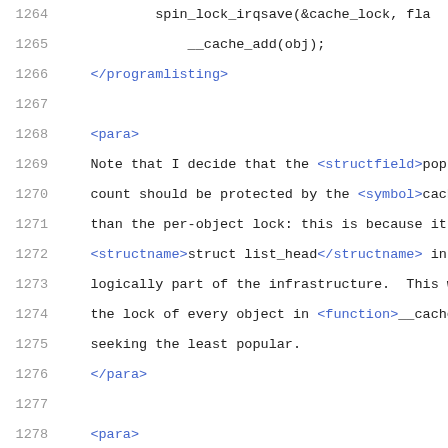1264    spin_lock_irqsave(&amp;cache_lock, fla
1265        __cache_add(obj);
1266    </programlisting>
1267
1268    <para>
1269    Note that I decide that the <structfield>popula
1270    count should be protected by the <symbol>cache_
1271    than the per-object lock: this is because it (l
1272    <structname>struct list_head</structname> insid
1273    logically part of the infrastructure.  This way
1274    the lock of every object in <function>__cache_a
1275    seeking the least popular.
1276    </para>
1277
1278    <para>
1279    I also decided that the <structfield>id</struct
1280    unchangeable, so I don't need to grab each obje
1281    <function>__cache_find()</function> to examine
1282    <structfield>id</structfield>: the object lock
1283    caller who wants to read or write the <structfi
1284    field.
1285    </para>